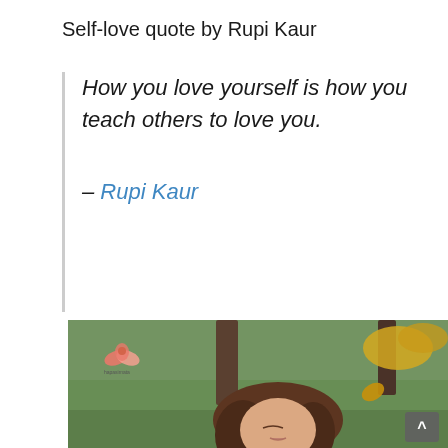Self-love quote by Rupi Kaur
How you love yourself is how you teach others to love you.
– Rupi Kaur
[Figure (photo): A woman with long brown hair, eyes closed, tilted head back slightly, outdoors in a park setting with green grass, blurred tree trunks and yellow autumn leaves. A small lotus/bird logo with text 'hapasimata' is visible in the upper left corner of the photo. A scroll-up button is visible in the bottom right.]